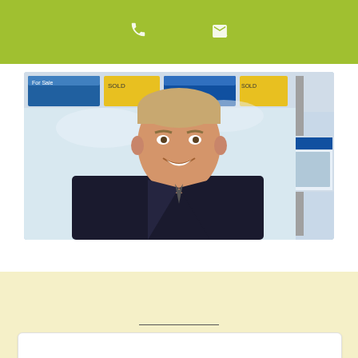[Figure (other): Green header bar with phone icon and email/dropdown icon]
[Figure (photo): Portrait photo of a smiling man in a dark suit with white shirt, standing in front of estate agent property listings display boards]
[Figure (other): Cream/light yellow background section with a horizontal divider line and a white input/search box at the bottom]